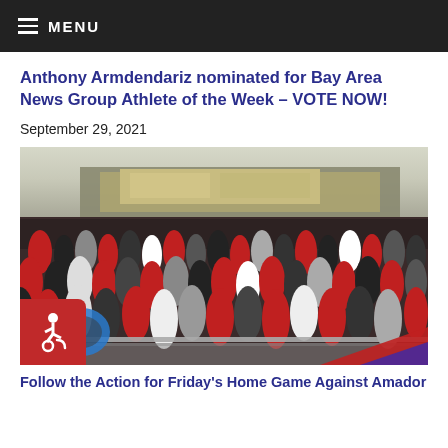MENU
Anthony Armdendariz nominated for Bay Area News Group Athlete of the Week – VOTE NOW!
September 29, 2021
[Figure (photo): Crowd of students in bleachers at a high school football game stadium, with a blue balloon number visible at lower left.]
Follow the Action for Friday's Home Game Against Amador